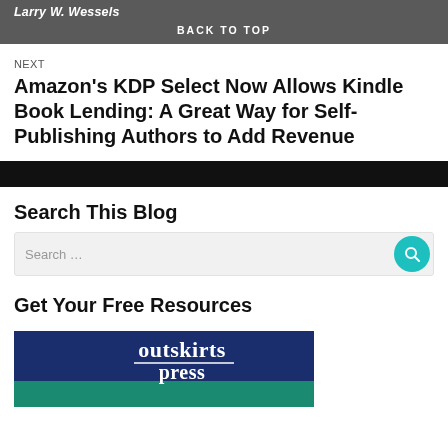Larry W. Wessels
BACK TO TOP
NEXT
Amazon's KDP Select Now Allows Kindle Book Lending: A Great Way for Self-Publishing Authors to Add Revenue
Search This Blog
Search ...
Get Your Free Resources
[Figure (logo): Outskirts Press logo on dark blue and teal background]